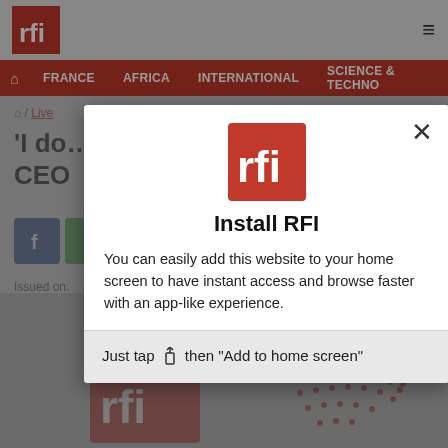[Figure (screenshot): RFI website screenshot showing header with RFI logo, hamburger menu, red navigation bar with FRANCE, AFRICA, INTERNATIONAL, SCIENCE & TECHNO options, breadcrumb navigation, article title beginning with 'I do... ...ern CEO', social share buttons, and Issued on text. Background is dimmed.]
[Figure (screenshot): Modal dialog overlay with white background. Contains RFI red logo at top center, bold title 'Install RFI', description text 'You can easily add this website to your home screen to have instant access and browse faster with an app-like experience.', close X button top right, and grey footer section reading 'Just tap [share icon] then "Add to home screen"']